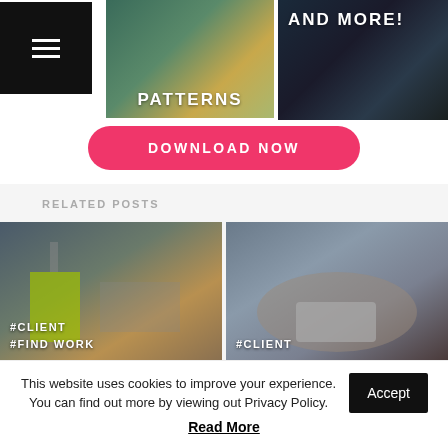[Figure (screenshot): Top row: black hamburger menu box, 'PATTERNS' image panel, 'AND MORE!' dark image panel]
DOWNLOAD NOW
RELATED POSTS
[Figure (photo): Office coworking space with #CLIENT #FIND WORK tags overlay]
[Figure (photo): People collaborating around laptop with #CLIENT tag overlay]
This website uses cookies to improve your experience. You can find out more by viewing out Privacy Policy.
Read More